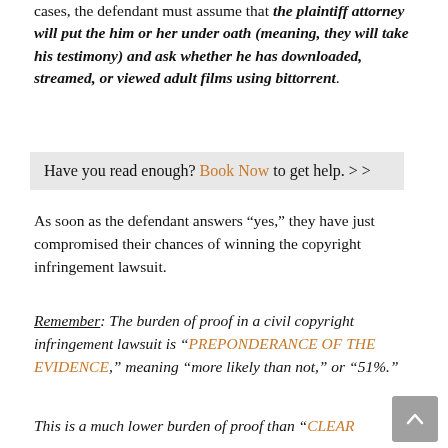cases, the defendant must assume that the plaintiff attorney will put the him or her under oath (meaning, they will take his testimony) and ask whether he has downloaded, streamed, or viewed adult films using bittorrent.
Have you read enough? Book Now to get help. > >
As soon as the defendant answers "yes," they have just compromised their chances of winning the copyright infringement lawsuit.
Remember: The burden of proof in a civil copyright infringement lawsuit is "PREPONDERANCE OF THE EVIDENCE," meaning "more likely than not," or "51%."
This is a much lower burden of proof than "CLEAR